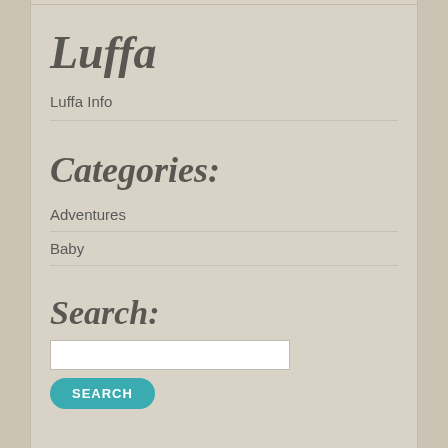Luffa
Luffa Info
Categories:
Adventures
Baby
Search: